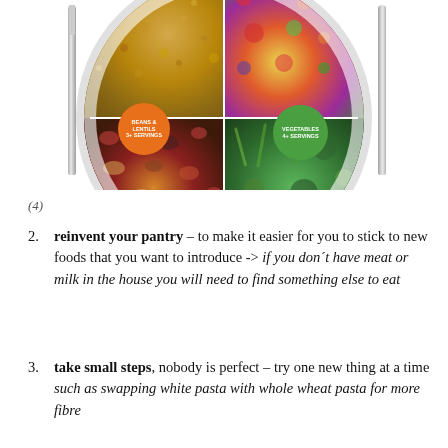[Figure (infographic): A plate divided into four quadrants showing grains/seeds (top left), colorful vegetables (top right), beans and lentils (bottom left), and more vegetables (bottom right), with a fork and knife on either side, an orange badge reading 'BEANS & LENTILS 3+ SERVINGS' and a green badge reading 'VEGETABLES 4+ SERVINGS']
(4)
2. reinvent your pantry – to make it easier for you to stick to new foods that you want to introduce -> if you don't have meat or milk in the house you will need to find something else to eat
3. take small steps, nobody is perfect – try one new thing at a time such as swapping white pasta with whole wheat pasta for more fibre